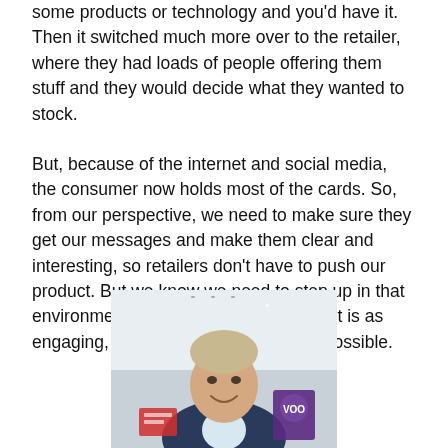some products or technology and you'd have it. Then it switched much more over to the retailer, where they had loads of people offering them stuff and they would decide what they wanted to stock.
But, because of the internet and social media, the consumer now holds most of the cards. So, from our perspective, we need to make sure they get our messages and make them clear and interesting, so retailers don't have to push our product. But we know we need to step up in that environment all the time, so that content is as engaging, interesting and relevant as possible.
[Figure (photo): Portrait photo of a middle-aged man with short grey-blond hair, wearing a dark navy suit, smiling. Background shows an office or retail environment with a purple badge/logo visible on the right side.]